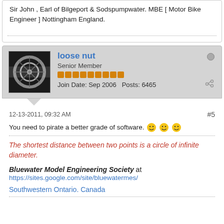Sir John , Earl of Bilgeport & Sodspumpwater. MBE [ Motor Bike Engineer ] Nottingham England.
loose nut
Senior Member
Join Date: Sep 2006  Posts: 6465
12-13-2011, 09:32 AM
#5
You need to pirate a better grade of software.
The shortest distance between two points is a circle of infinite diameter.
Bluewater Model Engineering Society at https://sites.google.com/site/bluewatermes/
Southwestern Ontario. Canada